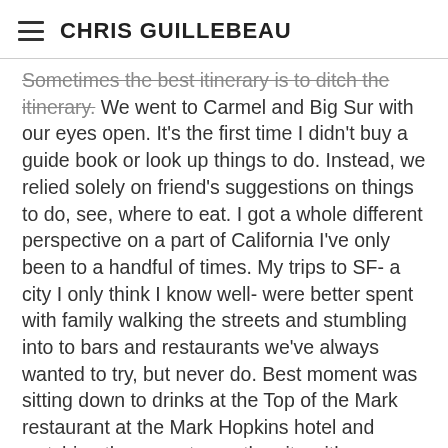CHRIS GUILLEBEAU
Sometimes the best itinerary is to ditch the itinerary. We went to Carmel and Big Sur with our eyes open. It's the first time I didn't buy a guide book or look up things to do. Instead, we relied solely on friend's suggestions on things to do, see, where to eat. I got a whole different perspective on a part of California I've only been to a handful of times. My trips to SF- a city I only think I know well- were better spent with family walking the streets and stumbling into to bars and restaurants we've always wanted to try, but never do. Best moment was sitting down to drinks at the Top of the Mark restaurant at the Mark Hopkins hotel and watching the sunset over the city with my parents and husband side-by-side. I didn't have to go far to be blown away by the beauty, wonder, and people.